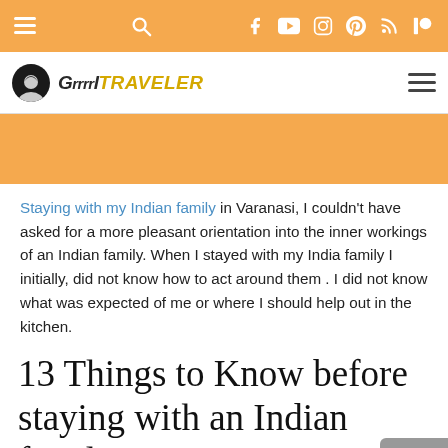Navigation bar with menu, search, Facebook, YouTube, Instagram, Pinterest, RSS, Patreon icons
[Figure (logo): Grrrl Traveler blog logo with avatar icon and hamburger menu]
[Figure (other): Orange/tan banner advertisement placeholder]
Staying with my Indian family in Varanasi, I couldn't have asked for a more pleasant orientation into the inner workings of an Indian family. When I stayed with my India family I initially, did not know how to act around them . I did not know what was expected of me or where I should help out in the kitchen.
13 Things to Know before staying with an Indian family